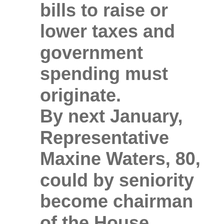bills to raise or lower taxes and government spending must originate. By next January, Representative Maxine Waters, 80, could by seniority become chairman of the House Financial Services Committee, overseeing America's banks. In 2008-2009, such regulatory power had been used to coerce banks into giving many billions of dollars in home loans to millions of borrowers who were not creditworthy as the latest democratic way to redistribute America's wealth.